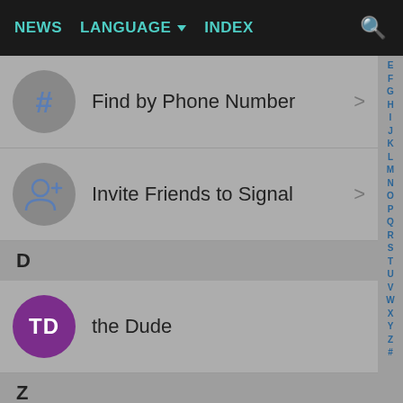NEWS  LANGUAGE▼  INDEX
Find by Phone Number
Invite Friends to Signal
D
the Dude
Z
Princess Zelda